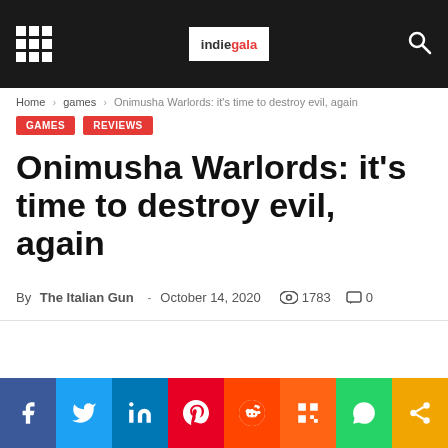indiegala (logo)
Home › games › Onimusha Warlords: it's time to destroy evil, again
GAMES
REVIEWS
Onimusha Warlords: it's time to destroy evil, again
By The Italian Gun - October 14, 2020  1783  0
Facebook Twitter LinkedIn Pinterest Reddit Mix WhatsApp Share